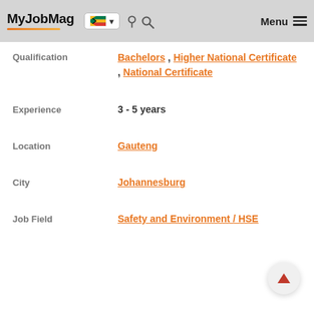MyJobMag — navigation header with South Africa flag, search, and Menu
Qualification: Bachelors, Higher National Certificate, National Certificate
Experience: 3 - 5 years
Location: Gauteng
City: Johannesburg
Job Field: Safety and Environment / HSE